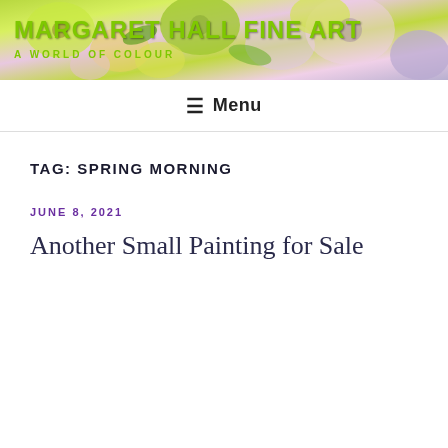[Figure (illustration): Colorful floral painting banner header for Margaret Hall Fine Art website, featuring bright greens, pinks, purples, and yellows in an abstract flower composition]
MARGARET HALL FINE ART
A WORLD OF COLOUR
≡ Menu
TAG: SPRING MORNING
JUNE 8, 2021
Another Small Painting for Sale